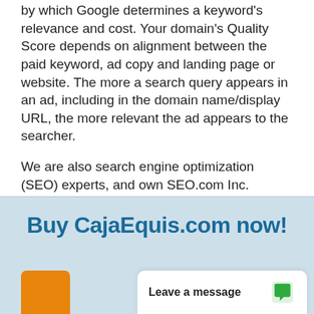by which Google determines a keyword's relevance and cost. Your domain's Quality Score depends on alignment between the paid keyword, ad copy and landing page or website. The more a search query appears in an ad, including in the domain name/display URL, the more relevant the ad appears to the searcher.

We are also search engine optimization (SEO) experts, and own SEO.com Inc. corporation with 40 employees. Let us know if you need help getting paid or organic traffic; help in getting to the top of Google.
Buy CajaEquis.com now!
[Figure (screenshot): Live chat widget showing 'Leave a message' text with a green speech bubble icon, and an orange box element at bottom left]